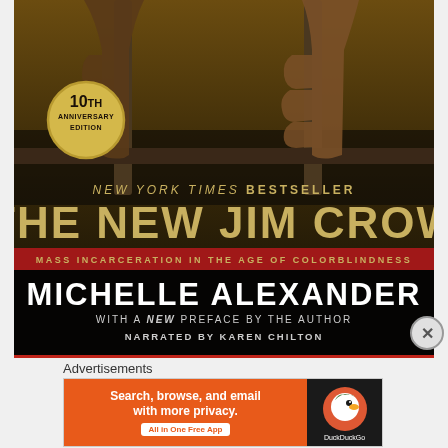[Figure (photo): Book cover of 'The New Jim Crow' 10th Anniversary Edition audiobook by Michelle Alexander. Shows hands gripping prison bars, sepia-toned. Includes '10th Anniversary Edition' badge, New York Times Bestseller label, title, subtitle 'Mass Incarceration in the Age of Colorblindness', author name, note about new preface, and 'Narrated by Karen Chilton'. Red band at bottom.]
Advertisements
[Figure (screenshot): DuckDuckGo advertisement banner: 'Search, browse, and email with more privacy. All in One Free App' with DuckDuckGo logo on orange/dark background.]